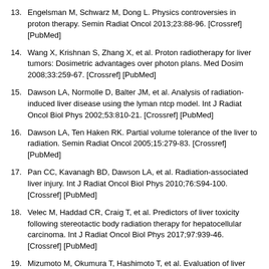13. Engelsman M, Schwarz M, Dong L. Physics controversies in proton therapy. Semin Radiat Oncol 2013;23:88-96. [Crossref] [PubMed]
14. Wang X, Krishnan S, Zhang X, et al. Proton radiotherapy for liver tumors: Dosimetric advantages over photon plans. Med Dosim 2008;33:259-67. [Crossref] [PubMed]
15. Dawson LA, Normolle D, Balter JM, et al. Analysis of radiation-induced liver disease using the lyman ntcp model. Int J Radiat Oncol Biol Phys 2002;53:810-21. [Crossref] [PubMed]
16. Dawson LA, Ten Haken RK. Partial volume tolerance of the liver to radiation. Semin Radiat Oncol 2005;15:279-83. [Crossref] [PubMed]
17. Pan CC, Kavanagh BD, Dawson LA, et al. Radiation-associated liver injury. Int J Radiat Oncol Biol Phys 2010;76:S94-100. [Crossref] [PubMed]
18. Velec M, Haddad CR, Craig T, et al. Predictors of liver toxicity following stereotactic body radiation therapy for hepatocellular carcinoma. Int J Radiat Oncol Biol Phys 2017;97:939-46. [Crossref] [PubMed]
19. Mizumoto M, Okumura T, Hashimoto T, et al. Evaluation of liver function after proton beam therapy for hepatocellular carcinoma. Int J Radiat Oncol Biol Phys 2012;82:e529-35. [Crossref] [PubMed]
20. Dawson LA. Protons or photons for hepatocellular carcinoma?